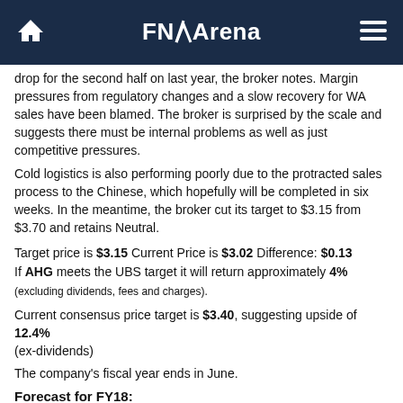FNArena
drop for the second half on last year, the broker notes. Margin pressures from regulatory changes and a slow recovery for WA sales have been blamed. The broker is surprised by the scale and suggests there must be internal problems as well as just competitive pressures.
Cold logistics is also performing poorly due to the protracted sales process to the Chinese, which hopefully will be completed in six weeks. In the meantime, the broker cut its target to $3.15 from $3.70 and retains Neutral.
Target price is $3.15 Current Price is $3.02 Difference: $0.13 If AHG meets the UBS target it will return approximately 4% (excluding dividends, fees and charges).
Current consensus price target is $3.40, suggesting upside of 12.4% (ex-dividends)
The company's fiscal year ends in June.
Forecast for FY18:
UBS forecasts a full year FY18 dividend of 19.00 cents and EPS of 22.40 cents.
At the last closing share price the estimated dividend yield is 6.29%.
At the last closing share price the stock's estimated Price to